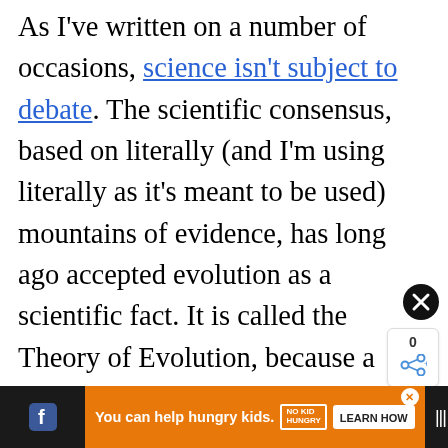As I've written on a number of occasions, science isn't subject to debate. The scientific consensus, based on literally (and I'm using literally as it's meant to be used) mountains of evidence, has long ago accepted evolution as a scientific fact. It is called the Theory of Evolution, because a
[Figure (other): Close button (X) circle icon]
[Figure (other): Share widget showing count 0 and share icon]
Don't miss each new article!
Email Address *
[Figure (other): Bottom advertisement bar: You can help hungry kids. NO KID HUNGRY. LEARN HOW]